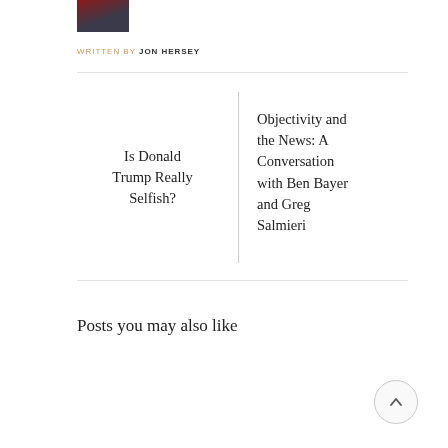[Figure (photo): Partial photo of a person wearing a red shirt and dark jacket, cropped at top of page]
WRITTEN BY JON HERSEY
Is Donald Trump Really Selfish?
Objectivity and the News: A Conversation with Ben Bayer and Greg Salmieri
Posts you may also like